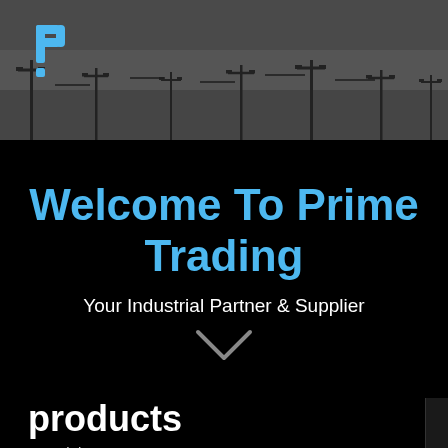[Figure (photo): Dark gray industrial background with silhouette of tower cranes and pole lights against a dim sky]
[Figure (logo): Prime Trading logo - stylized blue letter P with dot]
Welcome To Prime Trading
Your Industrial Partner & Supplier
[Figure (other): Downward pointing chevron arrow in gray]
products
Materials, Components & Parts